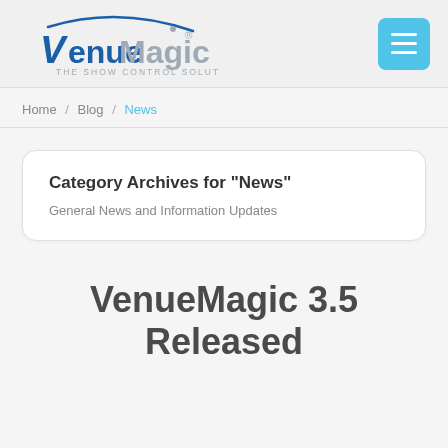[Figure (logo): VenueMagic logo with tagline 'THE SHOW CONTROL SOLUTION' and a hamburger menu button in cyan/light blue on the right]
Home / Blog / News
Category Archives for "News"
General News and Information Updates
VenueMagic 3.5 Released